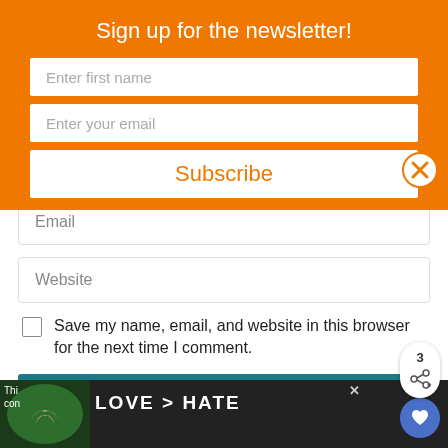Sign up for the newsletter!
Enter first name
Enter your email
Subscribe
Email
Website
Save my name, email, and website in this browser for the next time I comment.
POST COMMENT
[Figure (screenshot): Ad banner at bottom showing hands forming a heart shape with text LOVE > HATE]
3